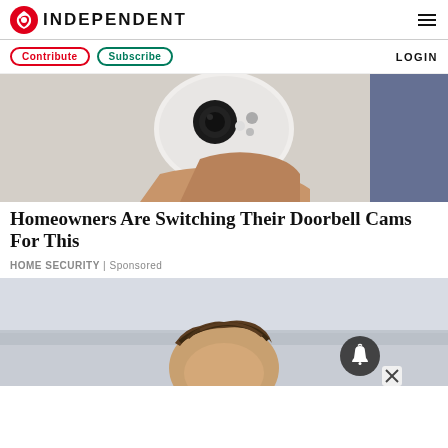INDEPENDENT
[Figure (screenshot): Independent newspaper website nav bar with Contribute and Subscribe buttons and LOGIN text]
[Figure (photo): A hand holding a white wireless security camera]
Homeowners Are Switching Their Doorbell Cams For This
HOME SECURITY | Sponsored
[Figure (photo): A man with tousled hair outdoors, partially visible, with a notification bell icon overlay and a close (X) button]